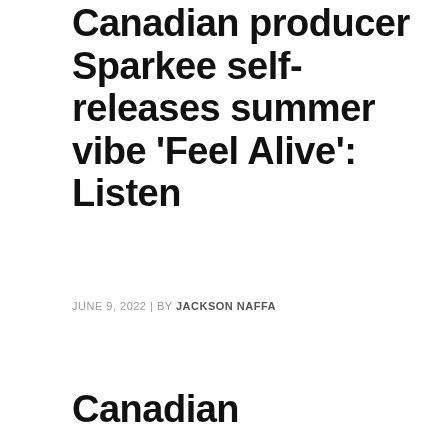Canadian producer Sparkee self-releases summer vibe ‘Feel Alive’: Listen
JUNE 9, 2022 | BY JACKSON NAFFA
Canadian